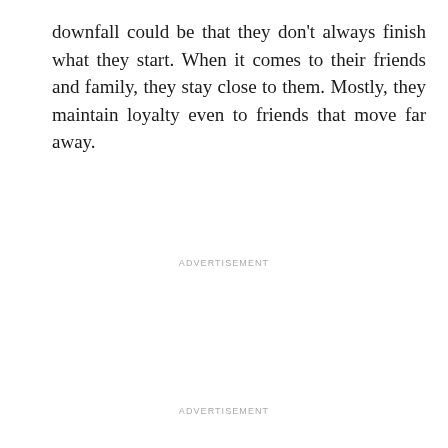downfall could be that they don’t always finish what they start. When it comes to their friends and family, they stay close to them. Mostly, they maintain loyalty even to friends that move far away.
ADVERTISEMENT
ADVERTISEMENT